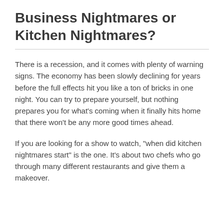Business Nightmares or Kitchen Nightmares?
There is a recession, and it comes with plenty of warning signs. The economy has been slowly declining for years before the full effects hit you like a ton of bricks in one night. You can try to prepare yourself, but nothing prepares you for what’s coming when it finally hits home that there won’t be any more good times ahead.
If you are looking for a show to watch, “when did kitchen nightmares start” is the one. It’s about two chefs who go through many different restaurants and give them a makeover.